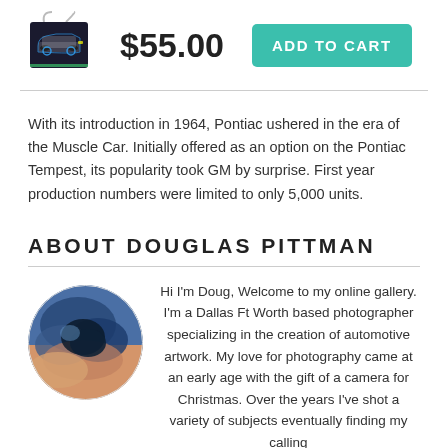[Figure (illustration): Shopping tote bag with a car graphic on it]
$55.00
ADD TO CART
With its introduction in 1964, Pontiac ushered in the era of the Muscle Car. Initially offered as an option on the Pontiac Tempest, its popularity took GM by surprise. First year production numbers were limited to only 5,000 units.
ABOUT DOUGLAS PITTMAN
[Figure (photo): Circular profile photo showing dramatic clouds and smoke in blue and orange tones]
Hi I'm Doug, Welcome to my online gallery. I'm a Dallas Ft Worth based photographer specializing in the creation of automotive artwork. My love for photography came at an early age with the gift of a camera for Christmas. Over the years I've shot a variety of subjects eventually finding my calling capturing the style and beauty of automobiles. My catalog runs the